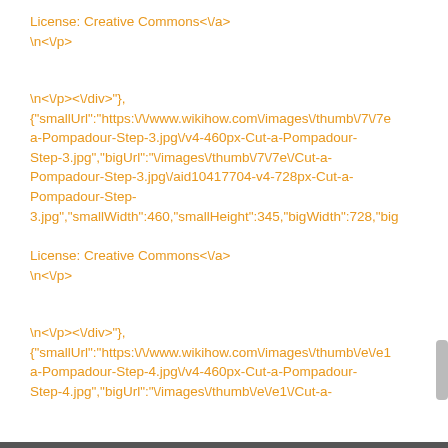License: Creative Commons<\/a>
\n<\/p>
\n<\/p><\/div>"},{"smallUrl":"https:\/\/www.wikihow.com\/images\/thumb\/7\/7e\/Cut-a-Pompadour-Step-3.jpg\/v4-460px-Cut-a-Pompadour-Step-3.jpg","bigUrl":"\/images\/thumb\/7\/7e\/Cut-a-Pompadour-Step-3.jpg\/aid10417704-v4-728px-Cut-a-Pompadour-Step-3.jpg","smallWidth":460,"smallHeight":345,"bigWidth":728,"bigH
License: Creative Commons<\/a>
\n<\/p>
\n<\/p><\/div>"},{"smallUrl":"https:\/\/www.wikihow.com\/images\/thumb\/e\/e1\/Cut-a-Pompadour-Step-4.jpg\/v4-460px-Cut-a-Pompadour-Step-4.jpg","bigUrl":"\/images\/thumb\/e\/e1\/Cut-a-Pompadour-Step-4.jpg